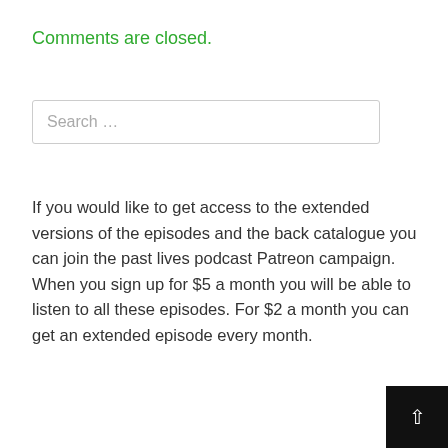Comments are closed.
Search …
If you would like to get access to the extended versions of the episodes and the back catalogue you can join the past lives podcast Patreon campaign. When you sign up for $5 a month you will be able to listen to all these episodes. For $2 a month you can get an extended episode every month.